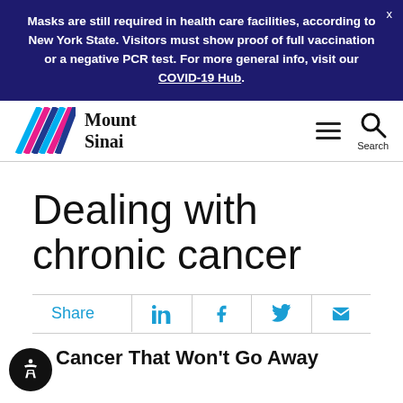Masks are still required in health care facilities, according to New York State. Visitors must show proof of full vaccination or a negative PCR test. For more general info, visit our COVID-19 Hub.
[Figure (logo): Mount Sinai health system logo with colorful diagonal lines (blue, pink, cyan) and 'Mount Sinai' text in serif font, plus hamburger menu and search icons]
Dealing with chronic cancer
Share (with LinkedIn, Facebook, Twitter, Email icons)
Cancer That Won't Go Away